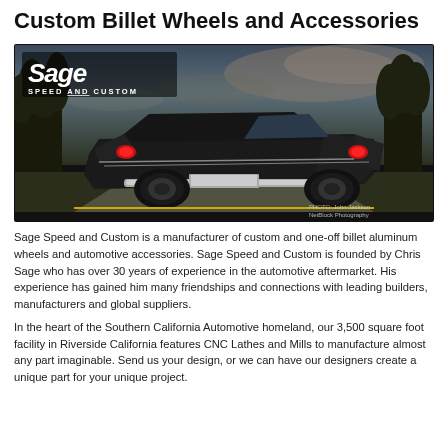Custom Billet Wheels and Accessories
[Figure (photo): A dark classic car (late 1950s Ford) photographed from the rear quarter angle on a road, with trees and dramatic sky in the background. The Sage Speed and Custom logo appears in the upper left of the photo. Photo credit: John Jackson NetBlock Photography.]
Sage Speed and Custom is a manufacturer of custom and one-off billet aluminum wheels and automotive accessories. Sage Speed and Custom is founded by Chris Sage who has over 30 years of experience in the automotive aftermarket. His experience has gained him many friendships and connections with leading builders, manufacturers and global suppliers.
In the heart of the Southern California Automotive homeland, our 3,500 square foot facility in Riverside California features CNC Lathes and Mills to manufacture almost any part imaginable. Send us your design, or we can have our designers create a unique part for your unique project.